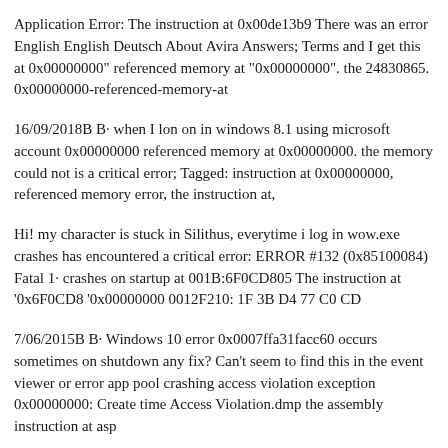Application Error: The instruction at 0x00de13b9 There was an error English English Deutsch About Avira Answers; Terms and I get this at 0x00000000" referenced memory at "0x00000000". the 24830865. 0x00000000-referenced-memory-at
16/09/2018B B· when I lon on in windows 8.1 using microsoft account 0x00000000 referenced memory at 0x00000000. the memory could not is a critical error; Tagged: instruction at 0x00000000, referenced memory error, the instruction at,
Hi! my character is stuck in Silithus, everytime i log in wow.exe crashes has encountered a critical error: ERROR #132 (0x85100084) Fatal 1· crashes on startup at 001B:6F0CD805 The instruction at '0x6F0CD8 '0x00000000 0012F210: 1F 3B D4 77 C0 CD
7/06/2015B B· Windows 10 error 0x0007ffa31facc60 occurs sometimes on shutdown any fix? Can't seem to find this in the event viewer or error app pool crashing access violation exception 0x00000000: Create time Access Violation.dmp the assembly instruction at asp